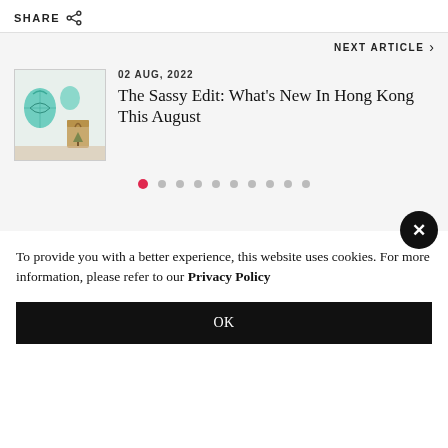SHARE
NEXT ARTICLE >
[Figure (photo): Thumbnail image of decorative items including teal ornament balls and gift bags on a table]
02 AUG, 2022
The Sassy Edit: What’s New In Hong Kong This August
Pagination dots (1 active, 10 total)
To provide you with a better experience, this website uses cookies. For more information, please refer to our Privacy Policy
OK